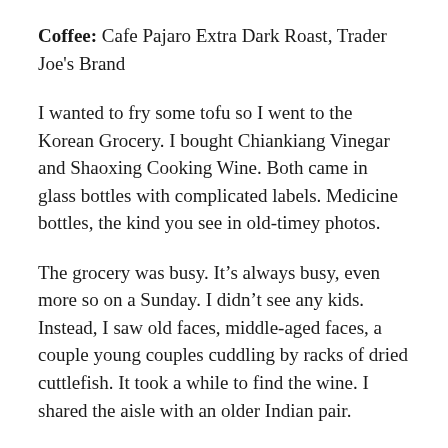Coffee: Cafe Pajaro Extra Dark Roast, Trader Joe's Brand
I wanted to fry some tofu so I went to the Korean Grocery. I bought Chiankiang Vinegar and Shaoxing Cooking Wine. Both came in glass bottles with complicated labels. Medicine bottles, the kind you see in old-timey photos.
The grocery was busy. It’s always busy, even more so on a Sunday. I didn’t see any kids. Instead, I saw old faces, middle-aged faces, a couple young couples cuddling by racks of dried cuttlefish. It took a while to find the wine. I shared the aisle with an older Indian pair.